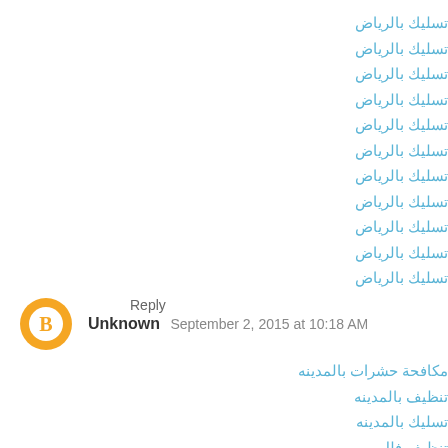تسليك بالرياض
تسليك بالرياض
تسليك بالرياض
تسليك بالرياض
تسليك بالرياض
تسليك بالرياض
تسليك بالرياض
تسليك بالرياض
تسليك بالرياض
تسليك بالرياض
تسليك بالرياض
Reply
Unknown   September 2, 2015 at 10:18 AM
مكافحة حشرات بالمدينه
تنظيف بالمدينه
تسليك بالمدينه
تنظيف فلل
حشرات